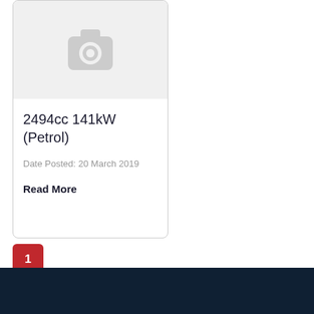[Figure (photo): Placeholder camera icon image in light grey box at top of listing card]
2494cc 141kW (Petrol)
Date Posted: 20 March 2019
Read More
1